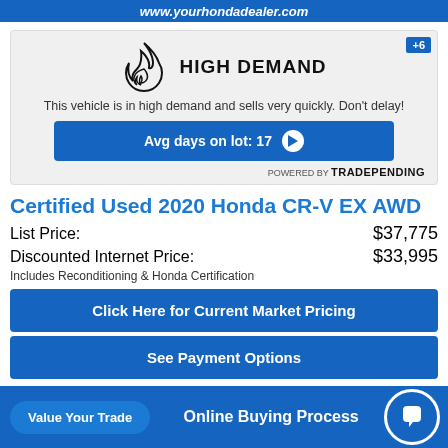www.yourhondadealer.com
[Figure (infographic): High Demand badge with flame icon, showing avg days on lot: 17, powered by TradePending. Badge +6 in top right corner.]
Certified Used 2020 Honda CR-V EX AWD
List Price: $37,775
Discounted Internet Price: $33,995
Includes Reconditioning & Honda Certification
Click Here for Current Market Pricing
See Payment Options
Online Buying Process
Value Your Trade